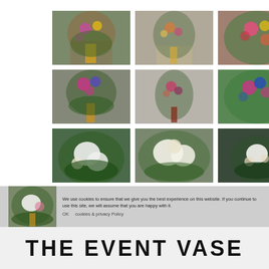[Figure (photo): 3x3 grid of flower arrangement photos: colorful bouquets in vases (top two rows) and white flower arrangements (third row), plus one more arrangement in bottom partial row]
We use cookies to ensure that we give you the best experience on this website. If you continue to use this site, we will assume that you are happy with it.
OK   cookies & privacy Policy
THE EVENT VASE